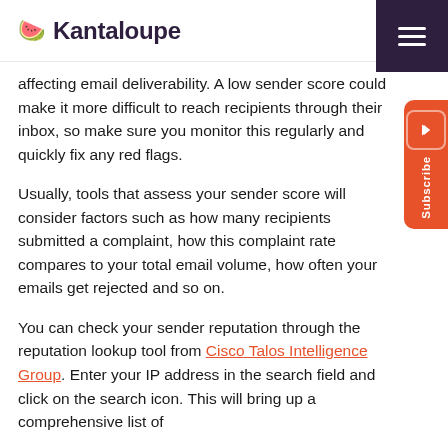Kantaloupe
affecting email deliverability. A low sender score could make it more difficult to reach recipients through their inbox, so make sure you monitor this regularly and quickly fix any red flags.
Usually, tools that assess your sender score will consider factors such as how many recipients submitted a complaint, how this complaint rate compares to your total email volume, how often your emails get rejected and so on.
You can check your sender reputation through the reputation lookup tool from Cisco Talos Intelligence Group. Enter your IP address in the search field and click on the search icon. This will bring up a comprehensive list of